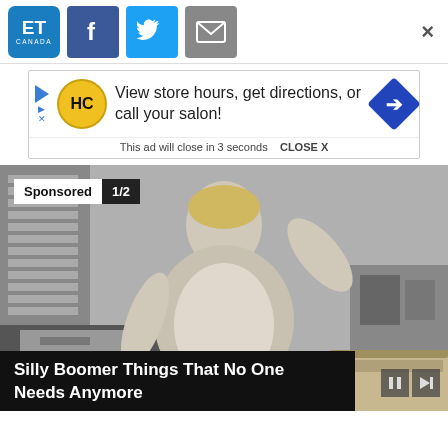[Figure (logo): ET Canada logo - blue rounded square with ET text and CANADA below]
[Figure (logo): Facebook share button - dark blue square with white f]
[Figure (logo): Twitter share button - light blue square with white bird icon]
[Figure (logo): Email share button - grey square with envelope icon]
×
[Figure (screenshot): Advertisement banner: HC (Hair Club) logo with text 'View store hours, get directions, or call your salon!' and blue arrow icon. Footer: 'This ad will close in 3 seconds  CLOSE X']
[Figure (photo): Black and white vintage photo of a 1950s housewife in a floral apron standing at a kitchen sink, hand raised to forehead. Sponsored badge overlay shows '1/2'. Caption overlay reads: 'Silly Boomer Things That No One Needs Anymore'. Media controls (pause/next) in bottom right.]